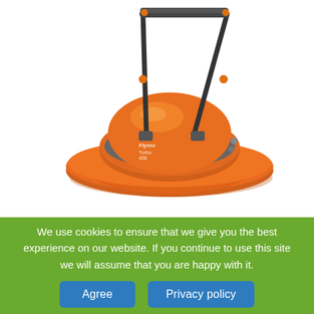[Figure (photo): An orange Flymo hover lawnmower with a black push handle, photographed on a white background. The mower has a rounded orange dome body with a dark grey band, resting on a wide flat orange skirt. The handle is dark/black with orange accent knobs.]
We use cookies to ensure that we give you the best experience on our website. If you continue to use this site we will assume that you are happy with it.
Agree
Privacy policy